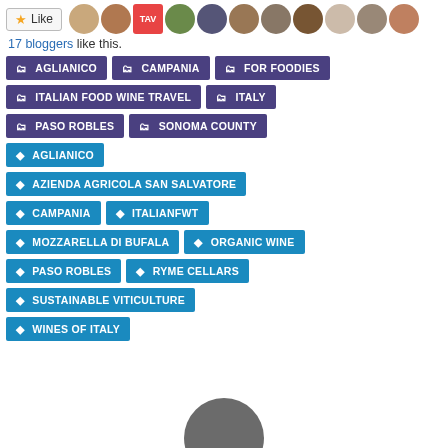[Figure (other): Like button with star icon followed by a row of blogger avatar photos]
17 bloggers like this.
AGLIANICO (category tag)
CAMPANIA (category tag)
FOR FOODIES (category tag)
ITALIAN FOOD WINE TRAVEL (category tag)
ITALY (category tag)
PASO ROBLES (category tag)
SONOMA COUNTY (category tag)
AGLIANICO (post tag)
AZIENDA AGRICOLA SAN SALVATORE (post tag)
CAMPANIA (post tag)
ITALIANFWT (post tag)
MOZZARELLA DI BUFALA (post tag)
ORGANIC WINE (post tag)
PASO ROBLES (post tag)
RYME CELLARS (post tag)
SUSTAINABLE VITICULTURE (post tag)
WINES OF ITALY (post tag)
[Figure (photo): Partial circular avatar photo at bottom center]